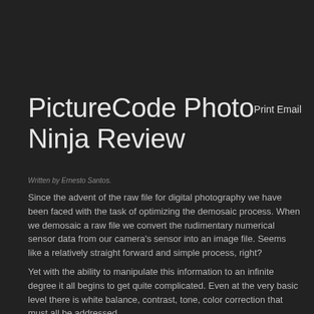PictureCode Photo Ninja Review
Print Email
Written by Ernesto Santos.
Since the advent of the raw file for digital photography we have been faced with the task of optimizing the demosaic process. When we demosaic a raw file we convert the rudimentary numerical sensor data from our camera's sensor into an image file. Seems like a relatively straight forward and simple process, right?
Yet with the ability to manipulate this information to an infinite degree it all begins to get quite complicated. Even at the very basic level there is white balance, contrast, tone, color correction that must all be addressed.